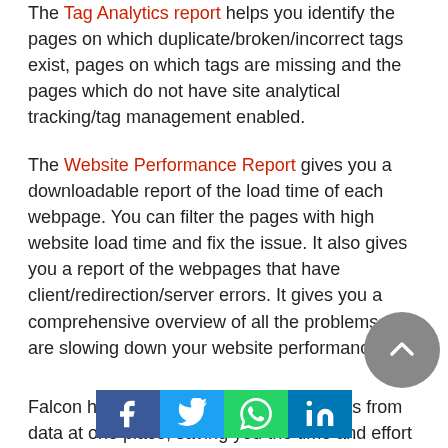The Tag Analytics report helps you identify the pages on which duplicate/broken/incorrect tags exist, pages on which tags are missing and the pages which do not have site analytical tracking/tag management enabled.
The Website Performance Report gives you a downloadable report of the load time of each webpage. You can filter the pages with high website load time and fix the issue. It also gives you a report of the webpages that have client/redirection/server errors. It gives you a comprehensive overview of all the problems that are slowing down your website performance.
Falcon helps you draw actionable insights from data at one place, saving you the time and effort on analysing your reports manually, and